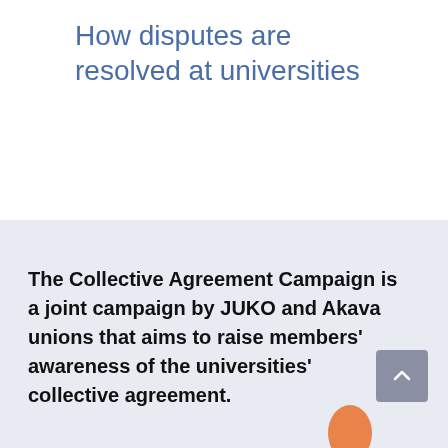How disputes are resolved at universities
The Collective Agreement Campaign is a joint campaign by JUKO and Akava unions that aims to raise members' awareness of the universities' collective agreement.